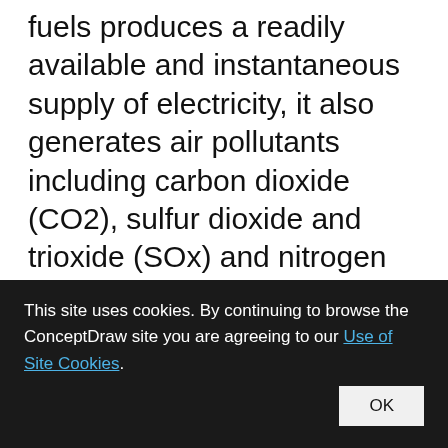fuels produces a readily available and instantaneous supply of electricity, it also generates air pollutants including carbon dioxide (CO2), sulfur dioxide and trioxide (SOx) and nitrogen oxides (NOx). Carbon dioxide is an important greenhouse gas which is thought to be responsible for some fraction of the rapid increase in global warming seen especially in the temperature records in the 20th century, as compared with tens of thousands of years worth of
This site uses cookies. By continuing to browse the ConceptDraw site you are agreeing to our Use of Site Cookies. OK